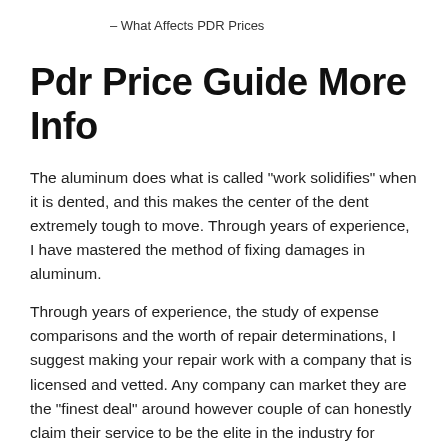- What Affects PDR Prices
Pdr Price Guide More Info
The aluminum does what is called "work solidifies" when it is dented, and this makes the center of the dent extremely tough to move. Through years of experience, I have mastered the method of fixing damages in aluminum.
Through years of experience, the study of expense comparisons and the worth of repair determinations, I suggest making your repair work with a company that is licensed and vetted. Any company can market they are the "finest deal" around however couple of can honestly claim their service to be the elite in the industry for quality repairs and customer care.